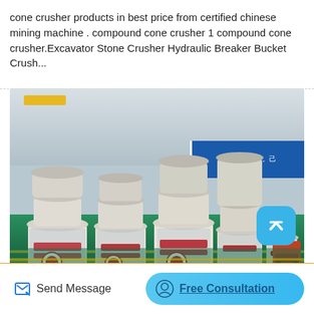cone crusher products in best price from certified chinese mining machine . compound cone crusher 1 compound cone crusher.Excavator Stone Crusher Hydraulic Breaker Bucket Crush...
[Figure (photo): Factory warehouse interior showing multiple large cone crusher machines lined up on a green floor, with industrial ceiling structure and a blue banner with Chinese text visible in the background. A forklift is visible on the right side.]
Send Message
Free Consultation